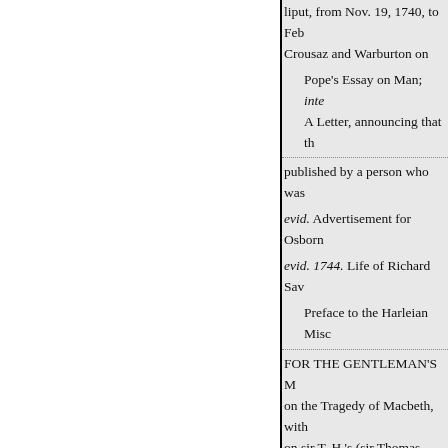liput, from Nov. 19, 1740, to Feb…
Crousaz and Warburton on
Pope's Essay on Man; inte…
A Letter, announcing that th…
published by a person who was…
evid. Advertisement for Osborn…
evid. 1744. Life of Richard Sav…
Preface to the Harleian Misc…
FOR THE GENTLEMAN'S M…
on the Tragedy of Macbeth, with…
on sir T. H.'s (sir Thomas Hanme…
posals for a new edition of that p…
addressed to Philip
Dormer, earl of Chesterfield ;
FOR THE GENTLEMAN'S M…
1748. Life of Roscommon; ackn…